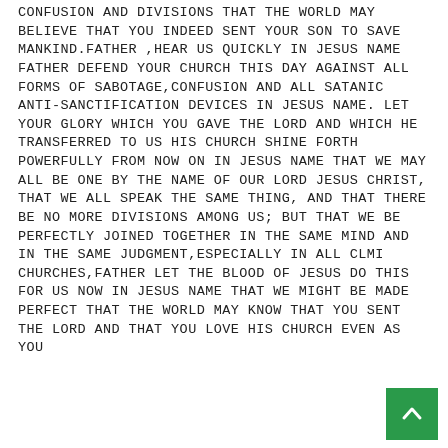CONFUSION AND DIVISIONS THAT THE WORLD MAY BELIEVE THAT YOU INDEED SENT YOUR SON TO SAVE MANKIND.FATHER ,HEAR US QUICKLY IN JESUS NAME FATHER DEFEND YOUR CHURCH THIS DAY AGAINST ALL FORMS OF SABOTAGE,CONFUSION AND ALL SATANIC ANTI-SANCTIFICATION DEVICES IN JESUS NAME. LET YOUR GLORY WHICH YOU GAVE THE LORD AND WHICH HE TRANSFERRED TO US HIS CHURCH SHINE FORTH POWERFULLY FROM NOW ON IN JESUS NAME THAT WE MAY ALL BE ONE BY THE NAME OF OUR LORD JESUS CHRIST, THAT WE ALL SPEAK THE SAME THING, AND THAT THERE BE NO MORE DIVISIONS AMONG US; BUT THAT WE BE PERFECTLY JOINED TOGETHER IN THE SAME MIND AND IN THE SAME JUDGMENT,ESPECIALLY IN ALL CLMI CHURCHES,FATHER LET THE BLOOD OF JESUS DO THIS FOR US NOW IN JESUS NAME THAT WE MIGHT BE MADE PERFECT THAT THE WORLD MAY KNOW THAT YOU SENT THE LORD AND THAT YOU LOVE HIS CHURCH EVEN AS YOU